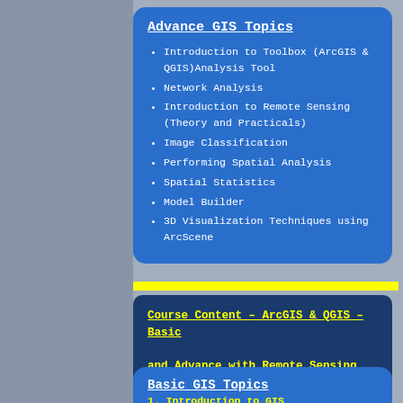Advance GIS Topics
Introduction to Toolbox (ArcGIS & QGIS)Analysis Tool
Network Analysis
Introduction to Remote Sensing (Theory and Practicals)
Image Classification
Performing Spatial Analysis
Spatial Statistics
Model Builder
3D Visualization Techniques using ArcScene
Course Content – ArcGIS & QGIS – Basic and Advance with Remote Sensing
Basic GIS Topics
1. Introduction to GIS